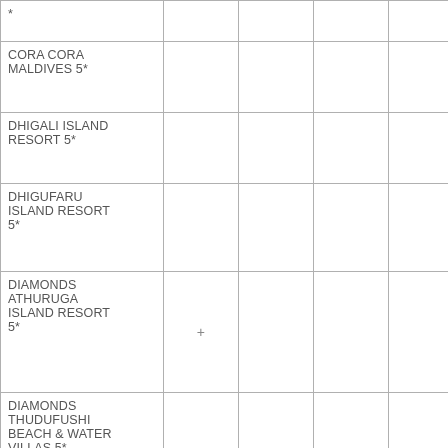| * |  |  |  |  |
| CORA CORA MALDIVES 5* |  |  |  |  |
| DHIGALI ISLAND RESORT 5* |  |  |  |  |
| DHIGUFARU ISLAND RESORT 5* |  |  |  |  |
| DIAMONDS ATHURUGA ISLAND RESORT 5* | + |  |  |  |
| DIAMONDS THUDUFUSHI BEACH & WATER VILLAS 5* | + |  |  |  |
| DREAMLAND - THE UNIQUE SEA & LAKE RESORT * |  |  |  |  |